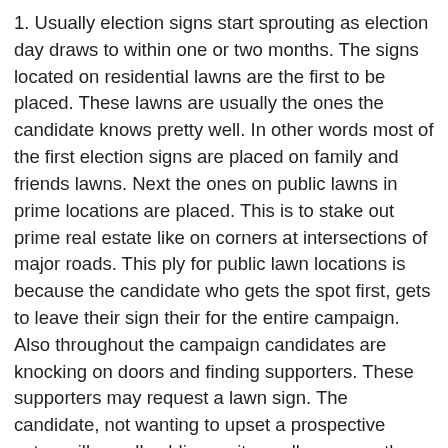1. Usually election signs start sprouting as election day draws to within one or two months. The signs located on residential lawns are the first to be placed. These lawns are usually the ones the candidate knows pretty well. In other words most of the first election signs are placed on family and friends lawns. Next the ones on public lawns in prime locations are placed. This is to stake out prime real estate like on corners at intersections of major roads. This ply for public lawn locations is because the candidate who gets the spot first, gets to leave their sign their for the entire campaign. Also throughout the campaign candidates are knocking on doors and finding supporters. These supporters may request a lawn sign. The candidate, not wanting to upset a prospective voter, will usually oblige as it usually secures the vote of the property owner as well as helps to promote the candidate's name in the neighbourhood (this is discussed above).
2. The weekend before the election day the signs start to grow even faster. This is because the final push is on in order to get the candidate's name known. So public lawns are the top priority in multiple locations throughout...